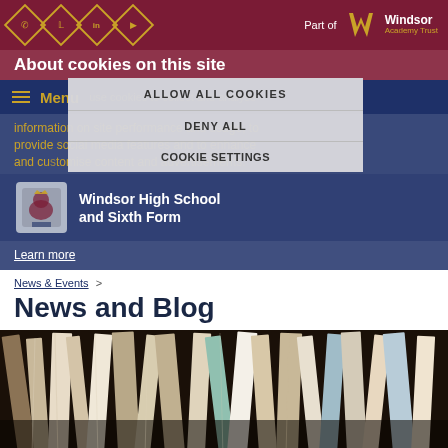Windsor High School and Sixth Form — Part of Windsor Academy Trust
About cookies on this site
We use cookies to collect and analyse information on site performance and usage, to provide social media features and to enhance and customise content and advertisements.
Learn more
News & Events >
ALLOW ALL COOKIES
News and Blog
DENY ALL
COOKIE SETTINGS
[Figure (photo): Stack of open books photographed from above, showing spines and pages fanned out]